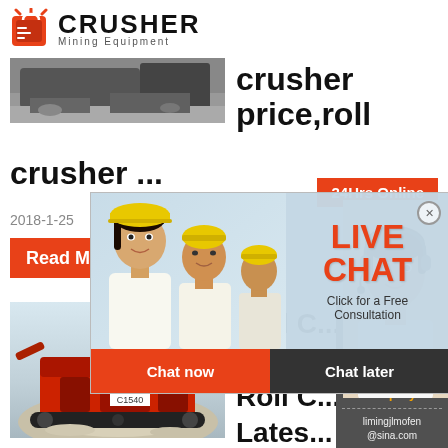[Figure (logo): Crusher Mining Equipment logo with red shopping bag icon and bold black CRUSHER text]
[Figure (photo): Excavator and crusher machinery working at a quarry site, top left]
crusher price,roll crusher ...
2018-1-25
Read M...
[Figure (screenshot): Live Chat popup overlay with people in hard hats, LIVE CHAT text in red, Click for a Free Consultation, Chat now and Chat later buttons]
24Hrs Online
[Figure (photo): Female customer service agent wearing headset, right side panel]
[Figure (photo): Red mobile crusher machine at a quarry, bottom left]
Roll C...
Labor...
Roll C...
Lates...
Need questions & suggestion?
Chat Now
Enquiry
limingjlmofen@sina.com